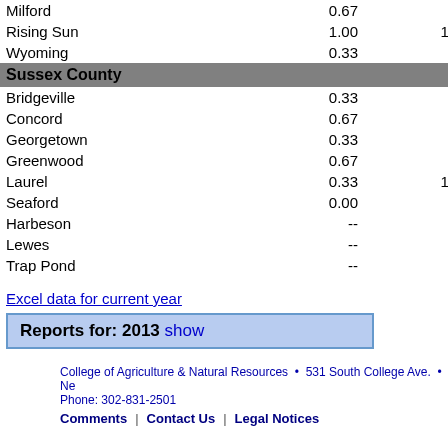| Location | Col2 | Col3 |
| --- | --- | --- |
| Milford | 0.67 | 1.67 |
| Rising Sun | 1.00 | 10.33 |
| Wyoming | 0.33 | 1.67 |
| Sussex County |  |  |
| Bridgeville | 0.33 | 1.00 |
| Concord | 0.67 | 8.00 |
| Georgetown | 0.33 | 5.00 |
| Greenwood | 0.67 | -- |
| Laurel | 0.33 | 13.33 |
| Seaford | 0.00 | 0.33 |
| Harbeson | -- | -- |
| Lewes | -- | -- |
| Trap Pond | -- | -- |
Excel data for current year
Reports for: 2013 show
College of Agriculture & Natural Resources • 531 South College Ave. • Ne... Phone: 302-831-2501
Comments | Contact Us | Legal Notices